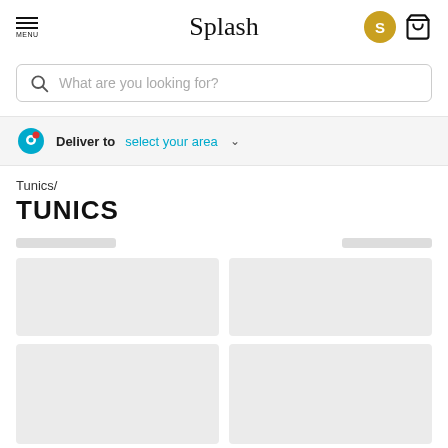Splash — navigation header with menu, brand name, user avatar (S), and bag icon
What are you looking for?
Deliver to  select your area
Tunics/ TUNICS
[Figure (other): Loading skeleton placeholders for product grid — two rows of two gray rectangular product cards with skeleton filter bars above]